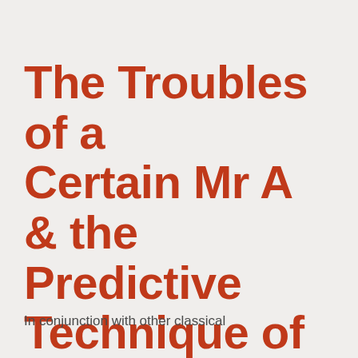The Troubles of a Certain Mr A & the Predictive Technique of Firdaria
In conjunction with other classical